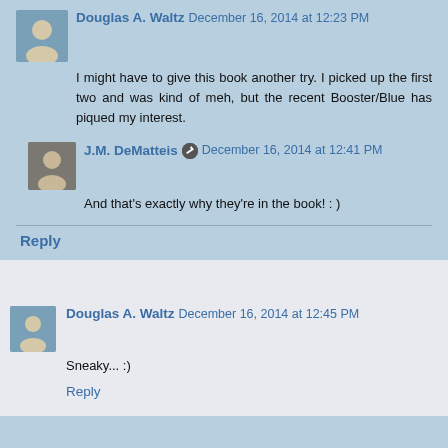Douglas A. Waltz  December 16, 2014 at 12:23 PM
I might have to give this book another try. I picked up the first two and was kind of meh, but the recent Booster/Blue has piqued my interest.
J.M. DeMatteis  December 16, 2014 at 12:41 PM
And that's exactly why they're in the book! : )
Reply
Douglas A. Waltz  December 16, 2014 at 12:45 PM
Sneaky... :)
Reply